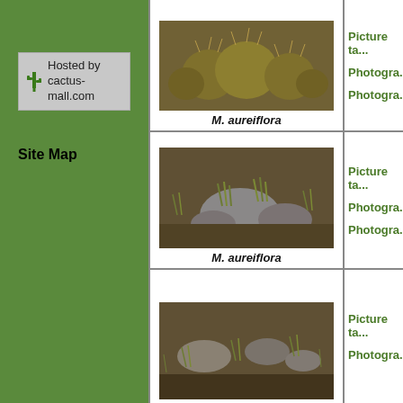[Figure (logo): Hosted by cactus-mall.com logo with cactus icon]
Site Map
[Figure (photo): Close-up photograph of Mammillaria aureiflora cactus clusters with golden spines]
M. aureiflora
Picture ta...
Photogra...
Photogra...
[Figure (photo): Landscape photograph showing rocky terrain with sparse vegetation and M. aureiflora habitat]
M. aureiflora
Picture ta...
Photogra...
Photogra...
[Figure (photo): Landscape photograph showing rocky hillside habitat with sparse grasses and stones]
Picture ta...
Photogra...